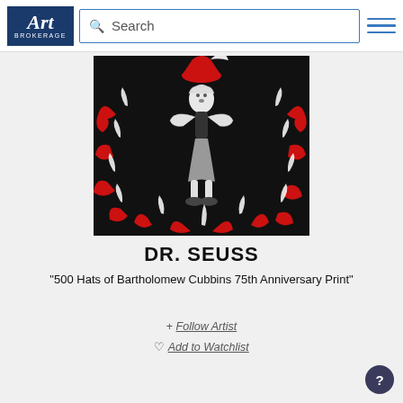[Figure (screenshot): Art Brokerage website header with logo, search bar, and hamburger menu]
[Figure (photo): Dr. Seuss artwork showing Bartholomew Cubbins character in black and white with red hats, surrounded by red crab-like creatures on a black background]
DR. SEUSS
"500 Hats of Bartholomew Cubbins 75th Anniversary Print"
+ Follow Artist
Add to Watchlist